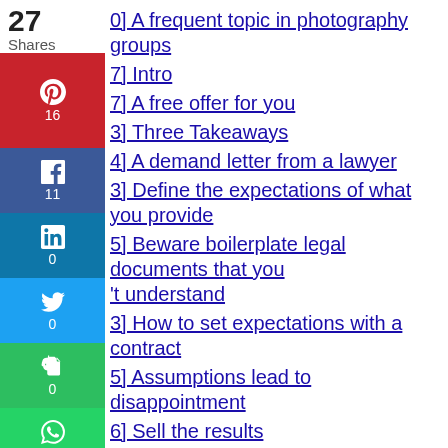27
Shares
0] A frequent topic in photography groups
7] Intro
7] A free offer for you
3] Three Takeaways
4] A demand letter from a lawyer
3] Define the expectations of what you provide
5] Beware boilerplate legal documents that you don't understand
3] How to set expectations with a contract
5] Assumptions lead to disappointment
6] Sell the results
45] How to explain things to clients
32] How to respond when a client asks for all the photos you took
321 Happiness is defining expectations